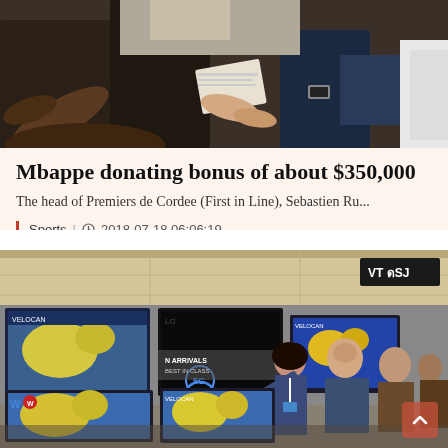[Figure (photo): People exchanging papers/documents, hands visible, outdoor crowd scene]
Mbappe donating bonus of about $350,000
The head of Premiers de Cordee (First in Line), Sebastien Ru...
Sports | 2018-07-18 06:06:19
[Figure (photo): People in an electronics store looking at multiple televisions displaying weather/map content on screens, a woman in a lanyard gestures at a TV screen]